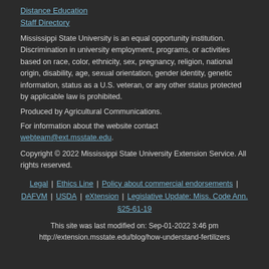Distance Education
Staff Directory
Mississippi State University is an equal opportunity institution. Discrimination in university employment, programs, or activities based on race, color, ethnicity, sex, pregnancy, religion, national origin, disability, age, sexual orientation, gender identity, genetic information, status as a U.S. veteran, or any other status protected by applicable law is prohibited.
Produced by Agricultural Communications.
For information about the website contact webteam@ext.msstate.edu.
Copyright © 2022 Mississippi State University Extension Service. All rights reserved.
Legal | Ethics Line | Policy about commercial endorsements | DAFVM | USDA | eXtension | Legislative Update: Miss. Code Ann. §25-61-19
This site was last modified on: Sep-01-2022 3:46 pm
http://extension.msstate.edu/blog/how-understand-fertilizers